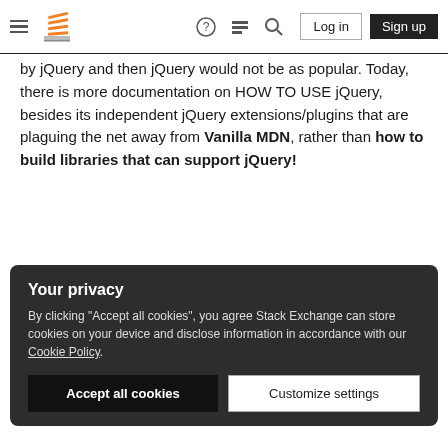Stack Overflow navigation bar with hamburger, logo, help, chat, search, Log in, Sign up
by jQuery and then jQuery would not be as popular. Today, there is more documentation on HOW TO USE jQuery, besides its independent jQuery extensions/plugins that are plaguing the net away from Vanilla MDN, rather than how to build libraries that can support jQuery!
For instance, try to search Google or Stack Overflow about how to create a custom $(this) pure Javascript/vanilla code and you'll find that this basic, yet advanced developer question is part of
Your privacy
By clicking "Accept all cookies", you agree Stack Exchange can store cookies on your device and disclose information in accordance with our Cookie Policy.
Accept all cookies   Customize settings